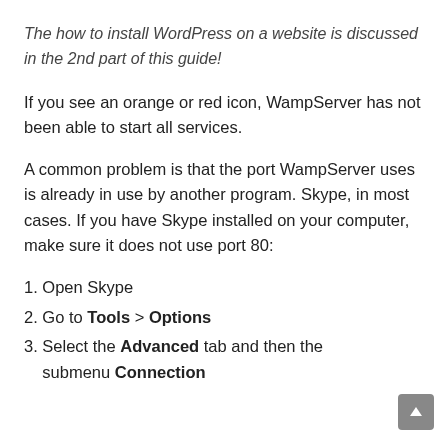The how to install WordPress on a website is discussed in the 2nd part of this guide!
If you see an orange or red icon, WampServer has not been able to start all services.
A common problem is that the port WampServer uses is already in use by another program. Skype, in most cases. If you have Skype installed on your computer, make sure it does not use port 80:
1. Open Skype
2. Go to Tools > Options
3. Select the Advanced tab and then the submenu Connection